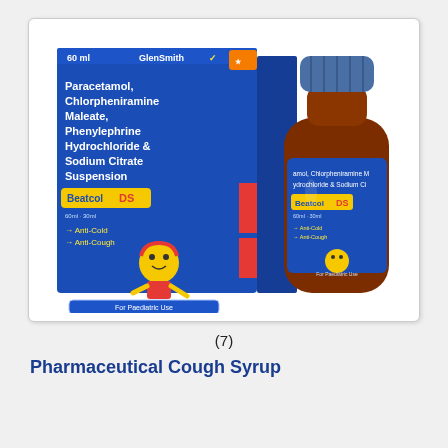[Figure (photo): A pharmaceutical product photo showing a blue cardboard box and amber glass bottle of Beatcol DS (GlenSmith brand) pediatric cough syrup. The box reads: 60 ml, GlenSmith, Paracetamol, Chlorpheniramine Maleate, Phenylephrine Hydrochloride & Sodium Citrate Suspension. Features Anti-Cold, Anti-Cough text and a cartoon child mascot. The bottle displays the same label information. For Paediatric Use.]
(7)
Pharmaceutical Cough Syrup